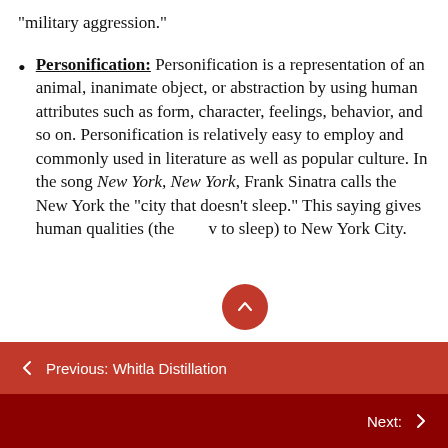“military aggression.”
Personification: Personification is a representation of an animal, inanimate object, or abstraction by using human attributes such as form, character, feelings, behavior, and so on. Personification is relatively easy to employ and commonly used in literature as well as popular culture. In the song New York, New York, Frank Sinatra calls the New York the “city that doesn’t sleep.” This saying gives human qualities (the ability to sleep) to New York City.
← Previous: Whitla Distillation
Next: →